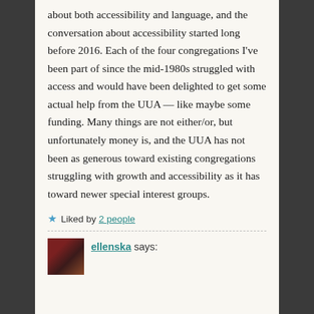about both accessibility and language, and the conversation about accessibility started long before 2016. Each of the four congregations I've been part of since the mid-1980s struggled with access and would have been delighted to get some actual help from the UUA — like maybe some funding. Many things are not either/or, but unfortunately money is, and the UUA has not been as generous toward existing congregations struggling with growth and accessibility as it has toward newer special interest groups.
★ Liked by 2 people
ellenska says: